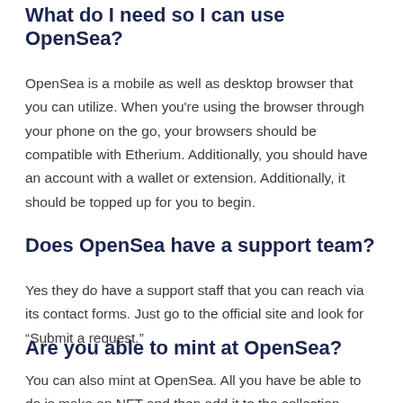What do I need so I can use OpenSea?
OpenSea is a mobile as well as desktop browser that you can utilize. When you're using the browser through your phone on the go, your browsers should be compatible with Etherium. Additionally, you should have an account with a wallet or extension. Additionally, it should be topped up for you to begin.
Does OpenSea have a support team?
Yes they do have a support staff that you can reach via its contact forms. Just go to the official site and look for “Submit a request.”
Are you able to mint at OpenSea?
You can also mint at OpenSea. All you have be able to do is make an NFT and then add it to the collection. Once you’re ready to sell them, put them up for auction. This is a simple and